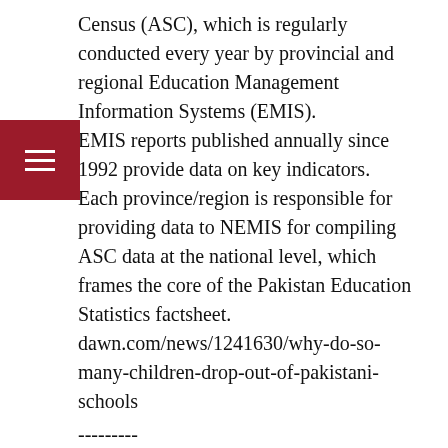Census (ASC), which is regularly conducted every year by provincial and regional Education Management Information Systems (EMIS). EMIS reports published annually since 1992 provide data on key indicators. Each province/region is responsible for providing data to NEMIS for compiling ASC data at the national level, which frames the core of the Pakistan Education Statistics factsheet. dawn.com/news/1241630/why-do-so-many-children-drop-out-of-pakistani-schools
---------
Sydney Morning Herald Columnist Owes a Proper Apology to Sexual Assault Survivors and